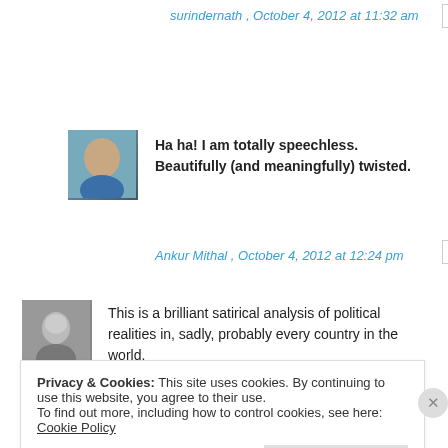surindernath , October 4, 2012 at 11:32 am
REPLY
[Figure (photo): Avatar of commenter - person in blue shirt outdoors]
Ha ha! I am totally speechless. Beautifully (and meaningfully) twisted.
Ankur Mithal , October 4, 2012 at 12:24 pm
REPLY
[Figure (photo): Avatar of commenter - black and white photo]
This is a brilliant satirical analysis of political realities in, sadly, probably every country in the world.
Privacy & Cookies: This site uses cookies. By continuing to use this website, you agree to their use.
To find out more, including how to control cookies, see here: Cookie Policy
Close and accept